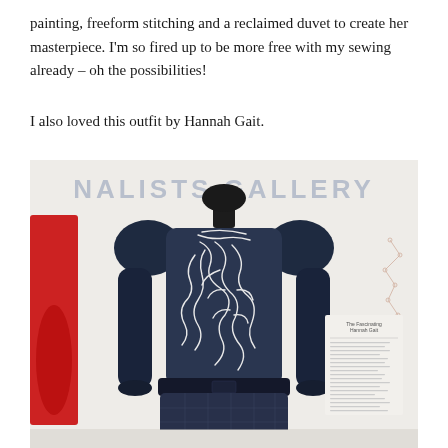painting, freeform stitching and a reclaimed duvet to create her masterpiece. I'm so fired up to be more free with my sewing already – oh the possibilities!
I also loved this outfit by Hannah Gait.
[Figure (photo): A navy blue dress with white freeform embroidery/stitching on a black mannequin, displayed in a gallery setting with 'FINALISTS GALLERY' text visible in the background. A red garment is partially visible on the left. A label card is visible on the right side.]